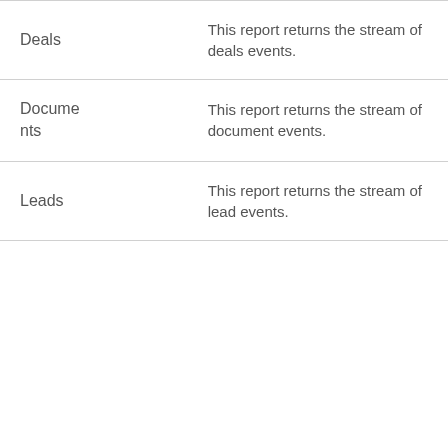|  |  |
| --- | --- |
| Deals | This report returns the stream of deals events. |
| Documents | This report returns the stream of document events. |
| Leads | This report returns the stream of lead events. |